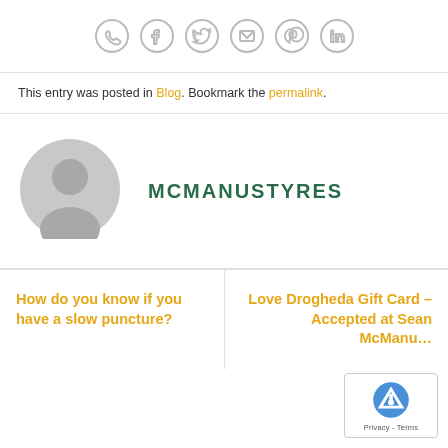[Figure (other): Row of 6 social media share icons in circles: WhatsApp, Facebook, Twitter, Email, Pinterest, LinkedIn]
This entry was posted in Blog. Bookmark the permalink.
[Figure (illustration): Gray default user avatar silhouette circle]
MCMANUSTYRES
How do you know if you have a slow puncture?
Love Drogheda Gift Card – Accepted at Sean McManu…